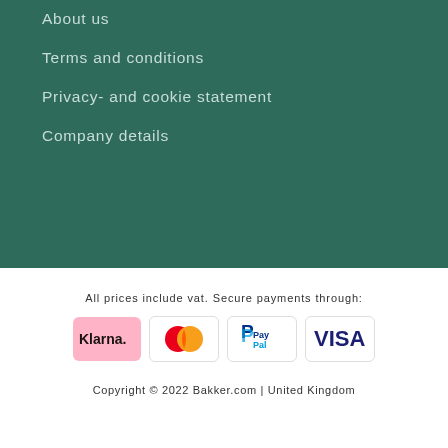About us
Terms and conditions
Privacy- and cookie statement
Company details
All prices include vat. Secure payments through:
[Figure (logo): Payment method logos: Klarna, Mastercard, PayPal, Visa]
Copyright © 2022 Bakker.com | United Kingdom